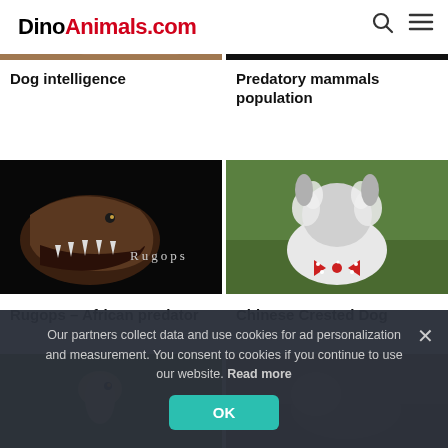DinoAnimals.com
[Figure (photo): Partial top image of a dog/animal, partially hidden behind header]
[Figure (photo): Partial top image dark background, partially hidden behind header]
Dog intelligence
Predatory mammals population
[Figure (photo): Rugops dinosaur head against black background with open jaws and teeth visible, text 'Rugops' overlaid]
[Figure (photo): Chinese Crested Dog with fluffy white and grey fur, wearing a red polka dot bow tie, sitting on green grass]
Rugops – African predator
Chinese Crested Dog
[Figure (photo): Partial image of a bird of prey on green foliage background]
[Figure (photo): Partial image of an animal on brownish background]
Our partners collect data and use cookies for ad personalization and measurement. You consent to cookies if you continue to use our website. Read more
OK